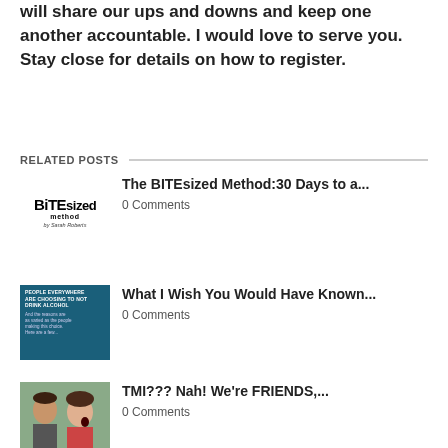will share our ups and downs and keep one another accountable. I would love to serve you. Stay close for details on how to register.
RELATED POSTS
[Figure (logo): BITEsized method logo by Sarah Roberts]
The BITEsized Method:30 Days to a...
0 Comments
[Figure (photo): Blue card with text about people everywhere choosing to not drink alcohol]
What I Wish You Would Have Known...
0 Comments
[Figure (photo): Man whispering into surprised woman's ear]
TMI??? Nah! We're FRIENDS,...
0 Comments